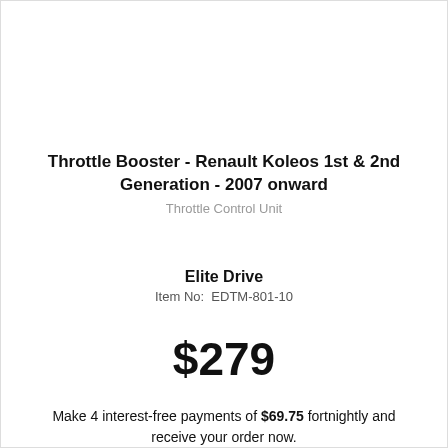Throttle Booster - Renault Koleos 1st & 2nd Generation - 2007 onward
Throttle Control Unit
Elite Drive
Item No: EDTM-801-10
$279
Make 4 interest-free payments of $69.75 fortnightly and receive your order now.